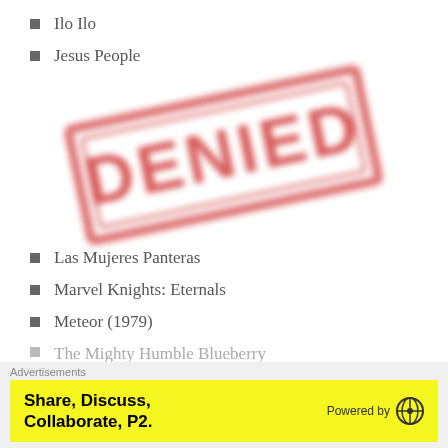Ilo Ilo
Jesus People
[Figure (illustration): A blurred red 'DENIED' rubber stamp image, rotated slightly counter-clockwise]
Las Mujeres Panteras
Marvel Knights: Eternals
Meteor (1979)
The Mighty Humble Blueberry
Advertisements
Share, Discuss, Collaborate, P2.   Powered by [WordPress logo]